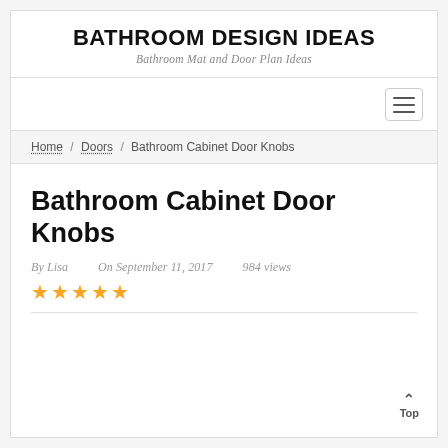BATHROOM DESIGN IDEAS
Bathroom Mat and Door Plan Ideas
Home / Doors / Bathroom Cabinet Door Knobs
Bathroom Cabinet Door Knobs
By Lisa   On September 11, 2017   984 views
★★★★★